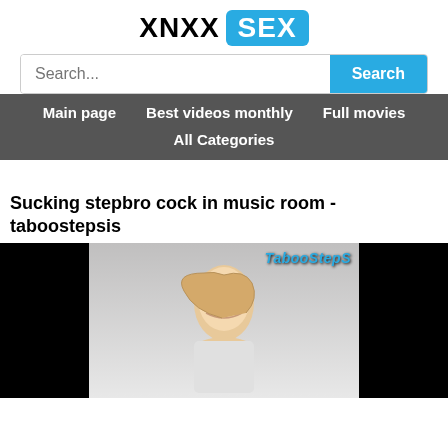XNXX SEX
Search...
Main page  Best videos monthly  Full movies  All Categories
Sucking stepbro cock in music room - taboostepsis
[Figure (photo): Video thumbnail showing a blonde woman with TabooSteps watermark in the top right corner, black bars on left and right sides]